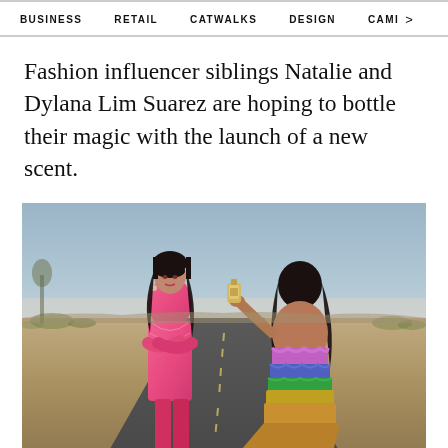BUSINESS   RETAIL   CATWALKS   DESIGN   CAMI >
Fashion influencer siblings Natalie and Dylana Lim Suarez are hoping to bottle their magic with the launch of a new scent.
[Figure (photo): Two women standing on a desert road at dusk. The woman on the left wears a pink patterned blazer with arms crossed. The woman on the right, seen from the back, wears a colorful ruffled strapless dress and holds a perfume bottle toward the first woman.]